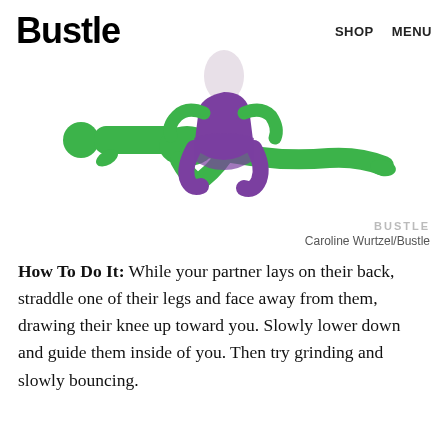Bustle   SHOP   MENU
[Figure (illustration): Illustration of two figures in an intimate position: one figure (green) lying on their back, the other figure (purple/green) straddling one leg and facing away.]
BUSTLE
Caroline Wurtzel/Bustle
How To Do It: While your partner lays on their back, straddle one of their legs and face away from them, drawing their knee up toward you. Slowly lower down and guide them inside of you. Then try grinding and slowly bouncing.